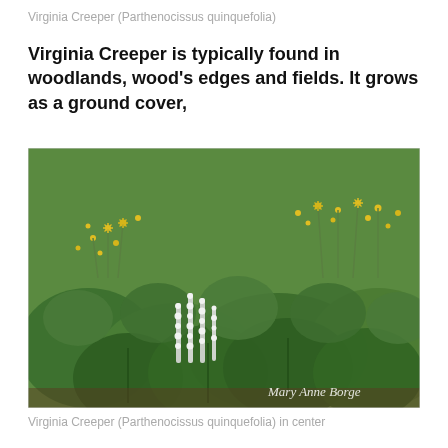Virginia Creeper (Parthenocissus quinquefolia)
Virginia Creeper is typically found in woodlands, wood's edges and fields. It grows as a ground cover,
[Figure (photo): Photo of woodland garden with yellow star-shaped flowers (likely ragwort/goldenrod) and large round green leaves with white flower spikes in the foreground. Watermark reads 'Mary Anne Borge'.]
Virginia Creeper (Parthenocissus quinquefolia) in center